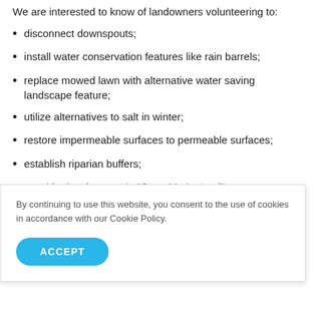We are interested to know of landowners volunteering to:
disconnect downspouts;
install water conservation features like rain barrels;
replace mowed lawn with alternative water saving landscape feature;
utilize alternatives to salt in winter;
restore impermeable surfaces to permeable surfaces;
establish riparian buffers;
consider involvement in “Grow Me Instead”;
By continuing to use this website, you consent to the use of cookies in accordance with our Cookie Policy.